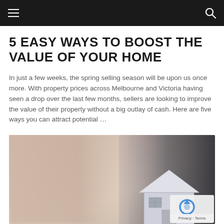5 EASY WAYS TO BOOST THE VALUE OF YOUR HOME
In just a few weeks, the spring selling season will be upon us once more. With property prices across Melbourne and Victoria having seen a drop over the last few months, sellers are looking to improve the value of their property without a big outlay of cash. Here are five ways you can attract potential …
[Figure (photo): Blurred photo of two people shaking hands over a small house model, representing real estate transaction]